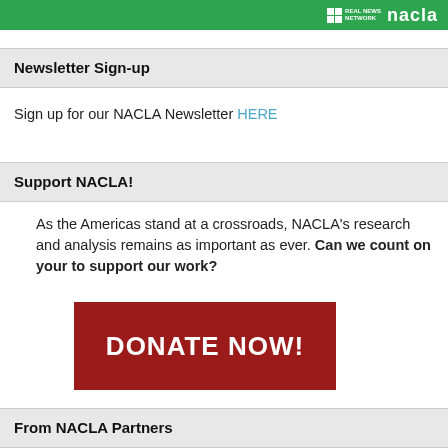REAL NEWS NETWORK nacla
Newsletter Sign-up
Sign up for our NACLA Newsletter HERE
Support NACLA!
As the Americas stand at a crossroads, NACLA's research and analysis remains as important as ever. Can we count on your to support our work?
[Figure (other): Dark red DONATE NOW! button]
From NACLA Partners